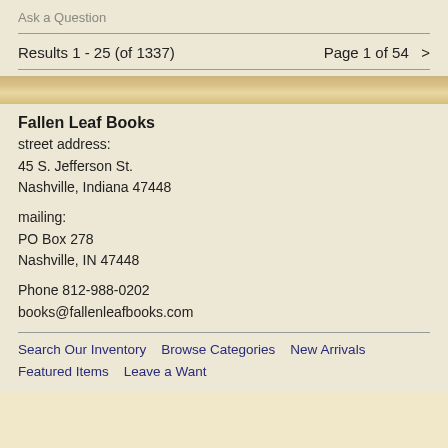Ask a Question
Results 1 - 25 (of 1337)   Page 1 of 54  >
Fallen Leaf Books
street address:
45 S. Jefferson St.
Nashville, Indiana 47448

mailing:
PO Box 278
Nashville, IN 47448

Phone 812-988-0202
books@fallenleafbooks.com
Search Our Inventory   Browse Categories   New Arrivals
Featured Items   Leave a Want